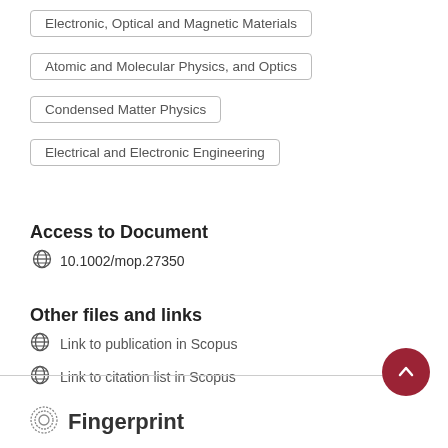Electronic, Optical and Magnetic Materials
Atomic and Molecular Physics, and Optics
Condensed Matter Physics
Electrical and Electronic Engineering
Access to Document
10.1002/mop.27350
Other files and links
Link to publication in Scopus
Link to citation list in Scopus
Fingerprint